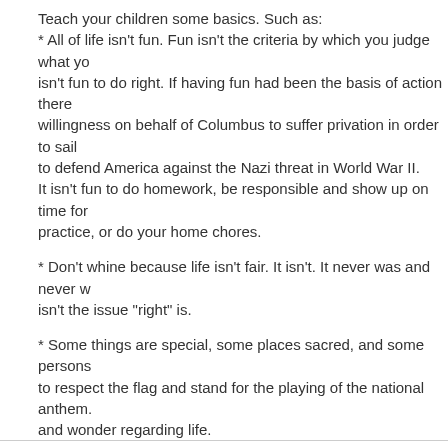Teach your children some basics. Such as:
* All of life isn't fun. Fun isn't the criteria by which you judge what you do. It isn't fun to do right. If having fun had been the basis of action there would have been no willingness on behalf of Columbus to suffer privation in order to sail west or men to defend America against the Nazi threat in World War II.
It isn't fun to do homework, be responsible and show up on time for school or practice, or do your home chores.
* Don't whine because life isn't fair. It isn't. It never was and never will be. "Fair" isn't the issue "right" is.
* Some things are special, some places sacred, and some persons deserve honor. Learn to respect the flag and stand for the playing of the national anthem. Retain a sense of awe and wonder regarding life.
* It is OK to respect those with whom we differ while lovingly defending your own beliefs.
* You are a responsible person. Don't look for excuses or someone else to blame. Take responsibility for your own actions.
* Life takes on meaning when you have a Biblical world view. Base your life on God's Word.